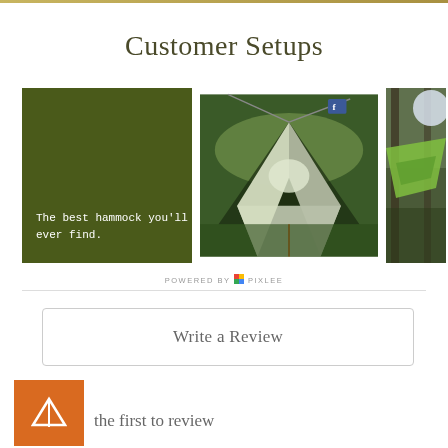Customer Setups
[Figure (photo): Three customer setup photos: left panel is a dark olive green card with white text 'The best hammock you'll ever find.', center is an aerial photo of a multi-person hammock tree tent spread between trees in a forest, right is a partially visible photo of hammocks in forest trees.]
POWERED BY PIXLEE
Write a Review
[Figure (logo): Orange square logo with white tent/triangle icon]
the first to review